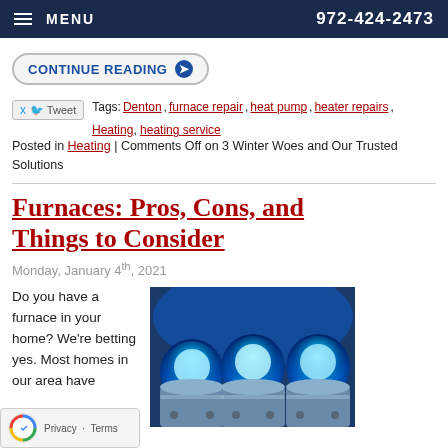MENU  972-424-2473
CONTINUE READING ❯
Tweet  Tags: Denton, furnace repair, heat pump, heater repairs, Heating, heating service
Posted in Heating | Comments Off on 3 Winter Woes and Our Trusted Solutions
Furnaces: Pros, Cons, and Things to Consider
Monday, January 4th, 2021
Do you have a furnace in your home? We're betting yes. Most homes in our area have
[Figure (photo): Close-up photo of furnace burners glowing bright blue, showing metal cylindrical tubes with blue flame inside, industrial furnace interior]